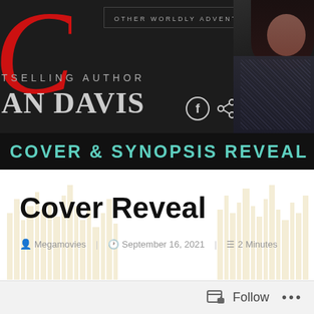[Figure (illustration): Dark banner showing partial red italic letter, text 'TSELLING AUTHOR' and 'AN DAVIS' in large serif font, social media icons (Facebook, share, Instagram), 'OTHER WORLDLY ADVENTURES' subtitle text, and a woman in dark clothing on the right side.]
COVER & SYNOPSIS REVEAL S
Cover Reveal
Megamovies   September 16, 2021   2 Minutes
Follow  ...